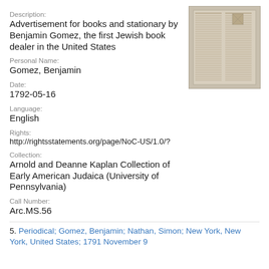Description:
Advertisement for books and stationary by Benjamin Gomez, the first Jewish book dealer in the United States
[Figure (photo): Thumbnail image of an old newspaper page with dense columns of text]
Personal Name:
Gomez, Benjamin
Date:
1792-05-16
Language:
English
Rights:
http://rightsstatements.org/page/NoC-US/1.0/?
Collection:
Arnold and Deanne Kaplan Collection of Early American Judaica (University of Pennsylvania)
Call Number:
Arc.MS.56
5. Periodical; Gomez, Benjamin; Nathan, Simon; New York, New York, United States; 1791 November 9